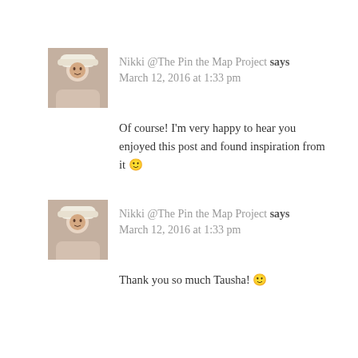[Figure (photo): Avatar photo of Nikki from The Pin the Map Project - woman with white hat]
Nikki @The Pin the Map Project says
March 12, 2016 at 1:33 pm
Of course! I'm very happy to hear you enjoyed this post and found inspiration from it 🙂
[Figure (photo): Avatar photo of Nikki from The Pin the Map Project - woman with white hat]
Nikki @The Pin the Map Project says
March 12, 2016 at 1:33 pm
Thank you so much Tausha! 🙂